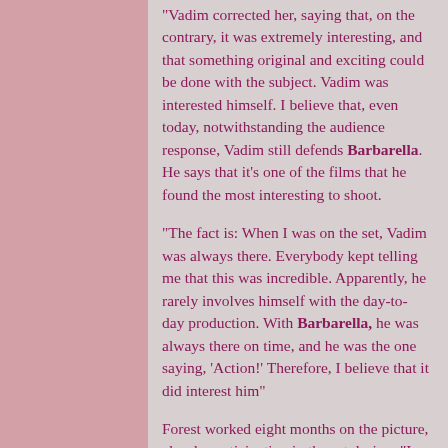"Vadim corrected her, saying that, on the contrary, it was extremely interesting, and that something original and exciting could be done with the subject. Vadim was interested himself. I believe that, even today, notwithstanding the audience response, Vadim still defends Barbarella. He says that it's one of the films that he found the most interesting to shoot.
"The fact is: When I was on the set, Vadim was always there. Everybody kept telling me that this was incredible. Apparently, he rarely involves himself with the day-to-day production. With Barbarella, he was always there on time, and he was the one saying, 'Action!' Therefore, I believe that it did interest him"
Forest worked eight months on the picture, closely participating in the set design. "I was completely involved," Forest recalls. "At that time, I didn't care about my strip, what really interested me was the movie business. The Italian artists were incredible; they could build anything in an extremely short time. I saw all the daily rushes, an incredible amount of film. The choices that were made for the final cut from those images were not the ones I would have